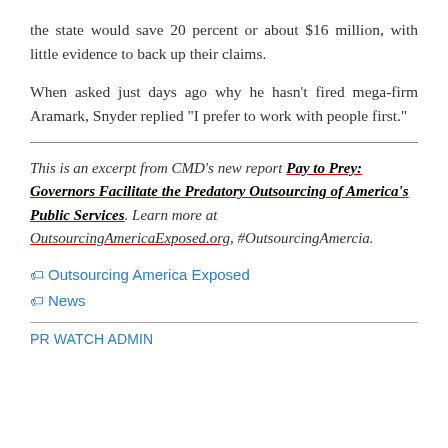the state would save 20 percent or about $16 million, with little evidence to back up their claims.
When asked just days ago why he hasn't fired mega-firm Aramark, Snyder replied "I prefer to work with people first."
This is an excerpt from CMD's new report Pay to Prey: Governors Facilitate the Predatory Outsourcing of America's Public Services. Learn more at OutsourcingAmericaExposed.org, #OutsourcingAmercia.
Outsourcing America Exposed
News
PR WATCH ADMIN